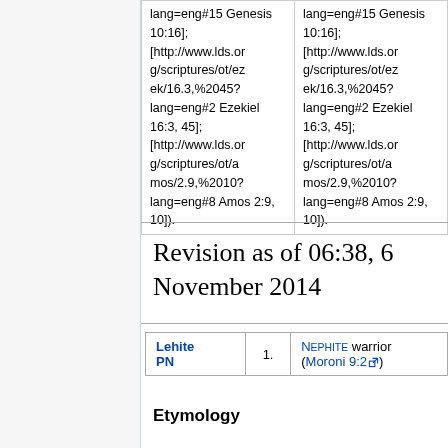| Column 1 | Column 2 |
| --- | --- |
| lang=eng#15 Genesis 10:16]; [http://www.lds.org/scriptures/ot/ezek/16.3,%2045?lang=eng#2 Ezekiel 16:3, 45]; [http://www.lds.org/scriptures/ot/amos/2.9,%2010?lang=eng#8 Amos 2:9, 10]). | lang=eng#15 Genesis 10:16]; [http://www.lds.org/scriptures/ot/ezek/16.3,%2045?lang=eng#2 Ezekiel 16:3, 45]; [http://www.lds.org/scriptures/ot/amos/2.9,%2010?lang=eng#8 Amos 2:9, 10]). |
Revision as of 06:38, 6 November 2014
| Term | Number | Definition |
| --- | --- | --- |
| Lehite PN | 1. | Nephite warrior (Moroni 9:2) |
Etymology